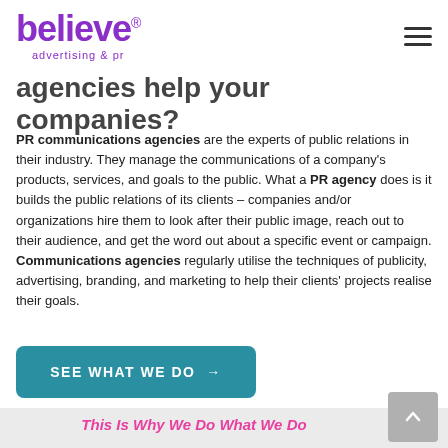believe advertising & pr
agencies help your companies?
PR communications agencies are the experts of public relations in their industry. They manage the communications of a company's products, services, and goals to the public. What a PR agency does is it builds the public relations of its clients – companies and/or organizations hire them to look after their public image, reach out to their audience, and get the word out about a specific event or campaign. Communications agencies regularly utilise the techniques of publicity, advertising, branding, and marketing to help their clients' projects realise their goals.
SEE WHAT WE DO →
This Is Why We Do What We Do